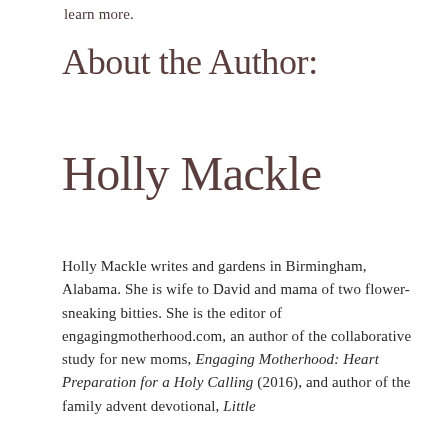learn more.
About the Author:
Holly Mackle
Holly Mackle writes and gardens in Birmingham, Alabama. She is wife to David and mama of two flower-sneaking bitties. She is the editor of engagingmotherhood.com, an author of the collaborative study for new moms, Engaging Motherhood: Heart Preparation for a Holy Calling (2016), and author of the family advent devotional, Little